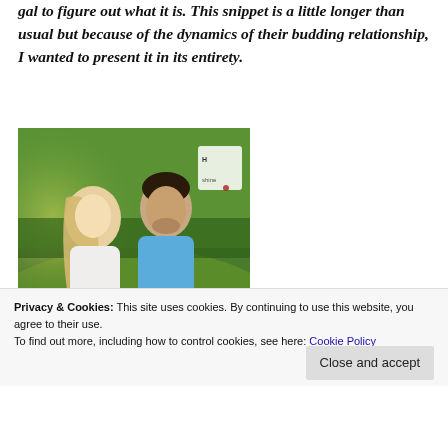gal to figure out what it is. This snippet is a little longer than usual but because of the dynamics of their budding relationship, I wanted to present it in its entirety.
[Figure (photo): Book cover showing a blonde woman and dark-haired man in blue shirt facing each other closely, outdoors with green grass and trees. Text on cover reads 'WILL COOK FOR LOVE' with a Harlequin Shine logo.]
Privacy & Cookies: This site uses cookies. By continuing to use this website, you agree to their use.
To find out more, including how to control cookies, see here: Cookie Policy